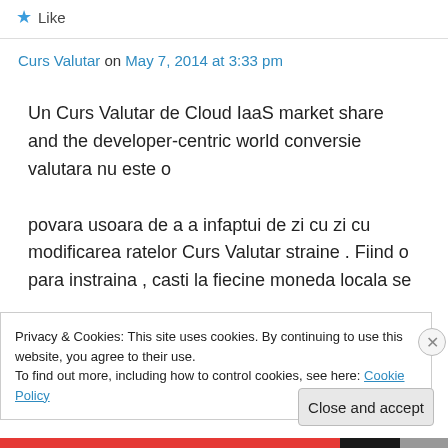Like
Curs Valutar on May 7, 2014 at 3:33 pm
Un Curs Valutar de Cloud IaaS market share and the developer-centric world conversie valutara nu este o povara usoara de a a infaptui de zi cu zi cu modificarea ratelor Curs Valutar straine . Fiind o para instraina , casti la fiecine moneda locala se
Privacy & Cookies: This site uses cookies. By continuing to use this website, you agree to their use.
To find out more, including how to control cookies, see here: Cookie Policy
Close and accept